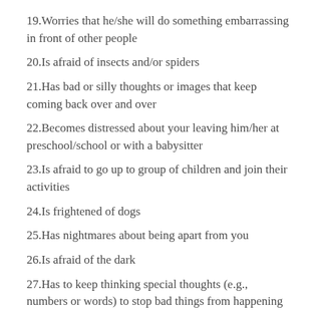19.Worries that he/she will do something embarrassing in front of other people
20.Is afraid of insects and/or spiders
21.Has bad or silly thoughts or images that keep coming back over and over
22.Becomes distressed about your leaving him/her at preschool/school or with a babysitter
23.Is afraid to go up to group of children and join their activities
24.Is frightened of dogs
25.Has nightmares about being apart from you
26.Is afraid of the dark
27.Has to keep thinking special thoughts (e.g., numbers or words) to stop bad things from happening